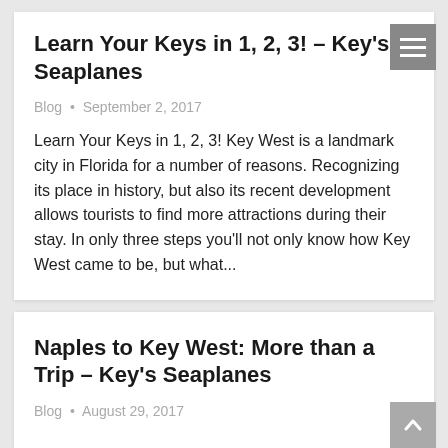Learn Your Keys in 1, 2, 3! – Key's Seaplanes
Blog • September 2, 2017
Learn Your Keys in 1, 2, 3! Key West is a landmark city in Florida for a number of reasons. Recognizing its place in history, but also its recent development allows tourists to find more attractions during their stay. In only three steps you'll not only know how Key West came to be, but what...
Naples to Key West: More than a Trip – Key's Seaplanes
Blog • August 29, 2017